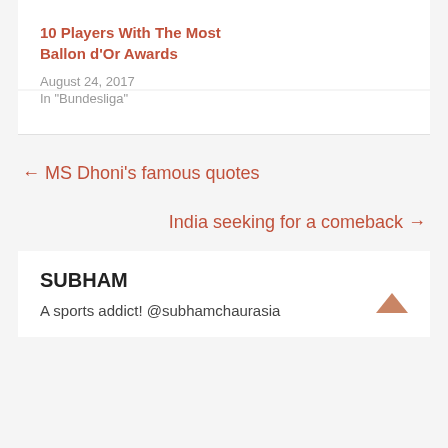10 Players With The Most Ballon d’Or Awards
August 24, 2017
In "Bundesliga"
← MS Dhoni’s famous quotes
India seeking for a comeback →
SUBHAM
A sports addict! @subhamchaurasia